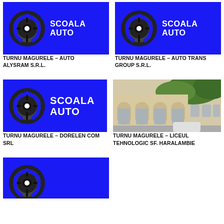[Figure (logo): Scoala Auto logo - blue background with steering wheel and text SCOALA AUTO]
[Figure (logo): Scoala Auto logo - blue background with steering wheel and text SCOALA AUTO]
TURNU MAGURELE – AUTO ALYSRAM S.R.L.
TURNU MAGURELE – AUTO TRANS GROUP S.R.L.
[Figure (logo): Scoala Auto logo - blue background with steering wheel and text SCOALA AUTO]
[Figure (photo): Photo of Liceul Tehnologic Sf. Haralambie building - beige facade with arched windows and green trees]
TURNU MAGURELE – DORELEN COM SRL
TURNU MAGURELE – LICEUL TEHNOLOGIC SF. HARALAMBIE
[Figure (logo): Scoala Auto logo - blue background with partial steering wheel visible at bottom]